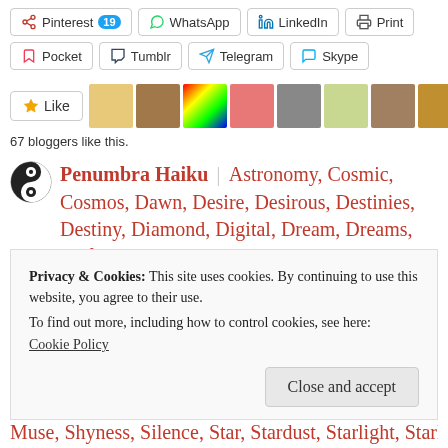[Figure (screenshot): Social share buttons row 1: Pinterest (19), WhatsApp, LinkedIn, Print]
[Figure (screenshot): Social share buttons row 2: Pocket, Tumblr, Telegram, Skype]
[Figure (screenshot): Like button with star icon and blogger avatars]
67 bloggers like this.
Penumbra Haiku | Astronomy, Cosmic, Cosmos, Dawn, Desire, Desirous, Destinies, Destiny, Diamond, Digital, Dream, Dreams, Driftwood, Echo, Echoes, Eternity, Evermore, Fate, Forever, Forevers, Full Moon, Gratitude, Haiku, Heart, Heartbeat, Heartbeats, Hearts, Horizon, Imagination, Imagine, Impetuous, Impetuous Muse, Infinite, Infinity, Japanese Poetry, Karma, Karmas, Kismat, Light
Privacy & Cookies: This site uses cookies. By continuing to use this website, you agree to their use.
To find out more, including how to control cookies, see here:
Cookie Policy
Muse, Shyness, Silence, Star, Stardust, Starlight, Starlit,